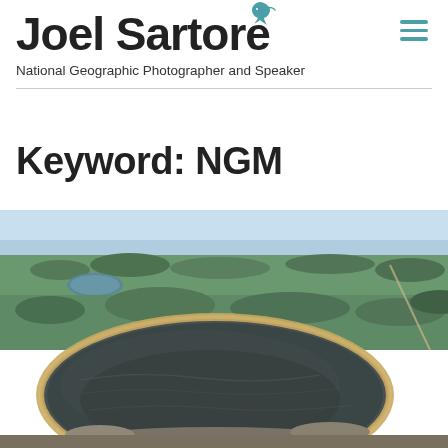Joel Sartore — National Geographic Photographer and Speaker
Keyword: NGM
[Figure (photo): Aerial photograph of a large dark circular lake or sinkhole surrounded by rocky shoreline, green savanna landscape with trees and smaller water bodies in the background, blue sky on the horizon]